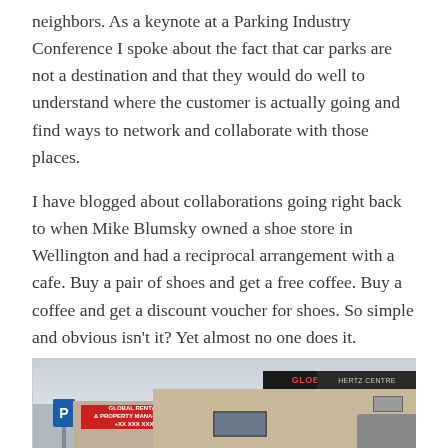neighbors. As a keynote at a Parking Industry Conference I spoke about the fact that car parks are not a destination and that they would do well to understand where the customer is actually going and find ways to network and collaborate with those places.
I have blogged about collaborations going right back to when Mike Blumsky owned a shoe store in Wellington and had a reciprocal arrangement with a cafe. Buy a pair of shoes and get a free coffee. Buy a coffee and get a discount voucher for shoes. So simple and obvious isn't it? Yet almost no one does it.
[Figure (photo): Street-level photo of a Global Rentals building with parking sign on the left, a red Global Rentals signage on a lower building section, and a large dark sign reading GLOBAL RENTALS on the main building facade. A vehicle is partially visible on the right.]